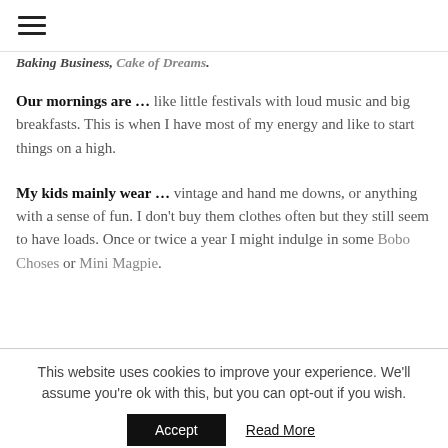☰ (hamburger menu icon)
Baking Business, Cake of Dreams.
Our mornings are … like little festivals with loud music and big breakfasts. This is when I have most of my energy and like to start things on a high.
My kids mainly wear … vintage and hand me downs, or anything with a sense of fun. I don't buy them clothes often but they still seem to have loads. Once or twice a year I might indulge in some Bobo Choses or Mini Magpie.
This website uses cookies to improve your experience. We'll assume you're ok with this, but you can opt-out if you wish.
Accept
Read More